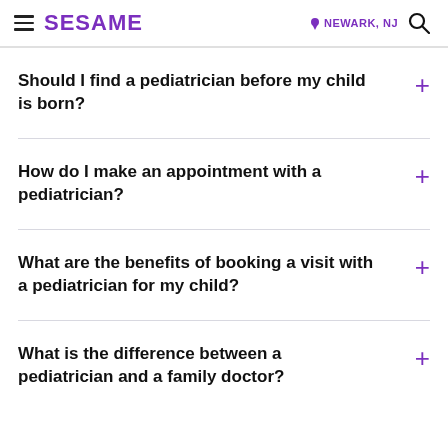SESAME | NEWARK, NJ
Should I find a pediatrician before my child is born?
How do I make an appointment with a pediatrician?
What are the benefits of booking a visit with a pediatrician for my child?
What is the difference between a pediatrician and a family doctor?